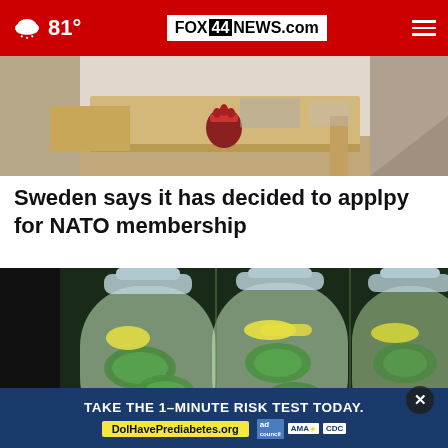81° FOX 44 NEWS.com
[Figure (photo): Meeting room or podium area with wooden furniture and a small decorative crown/emblem in the center, photographed from a low angle.]
Sweden says it has decided to applpy for NATO membership
[Figure (photo): Three large clear water bottles filled with sliced cucumbers, lemon slices, and green herbs/mint, displayed against a dark background.]
TAKE THE 1-MINUTE RISK TEST TODAY. DolHavePrediabetes.org